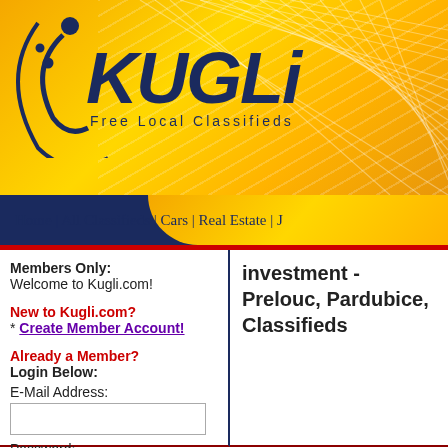[Figure (logo): KUGLi Free Local Classifieds logo with dark blue swoosh/figure graphic on yellow/gold gradient background with white line rays]
Home | All Classifieds | Cars | Real Estate | J
Members Only:
Welcome to Kugli.com!
New to Kugli.com?
* Create Member Account!
Already a Member?
Login Below:
E-Mail Address:
[input]
Password:
[input]
Login Now
investment - Prelouc, Pardubice, Classifieds